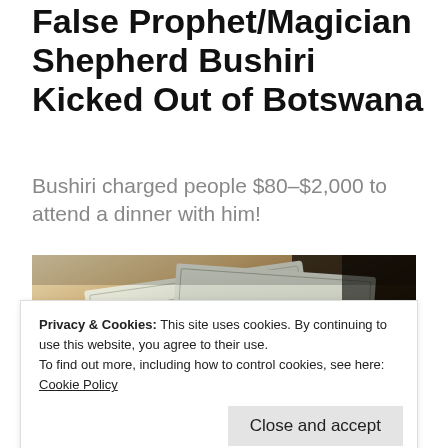False Prophet/Magician Shepherd Bushiri Kicked Out of Botswana
Bushiri charged people $80-$2,000 to attend a dinner with him!
[Figure (photo): Close-up photo of hands holding a fan of US dollar bills (50-dollar notes visible), with dark background.]
Privacy & Cookies: This site uses cookies. By continuing to use this website, you agree to their use.
To find out more, including how to control cookies, see here: Cookie Policy
Close and accept
Botswana has shut down the church of a